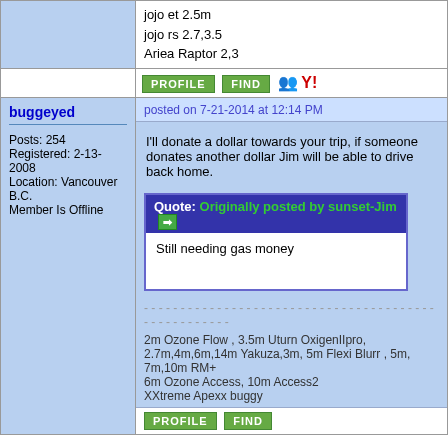jojo et 2.5m
jojo rs 2.7,3.5
Ariea Raptor 2,3
PROFILE FIND [icons]
buggeyed
posted on 7-21-2014 at 12:14 PM
Posts: 254
Registered: 2-13-2008
Location: Vancouver B.C.
Member Is Offline
I'll donate a dollar towards your trip, if someone donates another dollar Jim will be able to drive back home.
Quote: Originally posted by sunset-Jim
Still needing gas money
2m Ozone Flow , 3.5m Uturn OxigenIIpro,
2.7m,4m,6m,14m Yakuza,3m, 5m Flexi Blurr , 5m, 7m,10m RM+
6m Ozone Access, 10m Access2
XXtreme Apexx buggy
PROFILE FIND